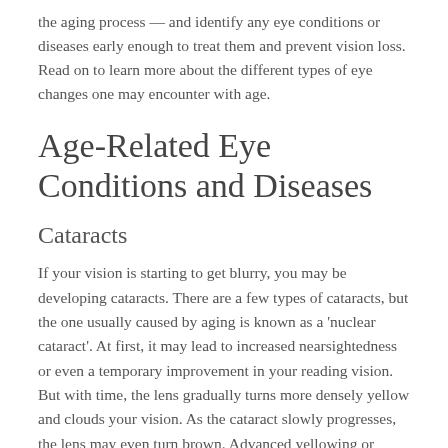the aging process — and identify any eye conditions or diseases early enough to treat them and prevent vision loss. Read on to learn more about the different types of eye changes one may encounter with age.
Age-Related Eye Conditions and Diseases
Cataracts
If your vision is starting to get blurry, you may be developing cataracts. There are a few types of cataracts, but the one usually caused by aging is known as a 'nuclear cataract'. At first, it may lead to increased nearsightedness or even a temporary improvement in your reading vision. But with time, the lens gradually turns more densely yellow and clouds your vision. As the cataract slowly progresses, the lens may even turn brown. Advanced yellowing or browning of the lens can lead to difficulty distinguishing between shades of color, and left untreated, it can eventually lead to blindness. Luckily, cataract surgery, where the cloudy lens is replaced with a clear